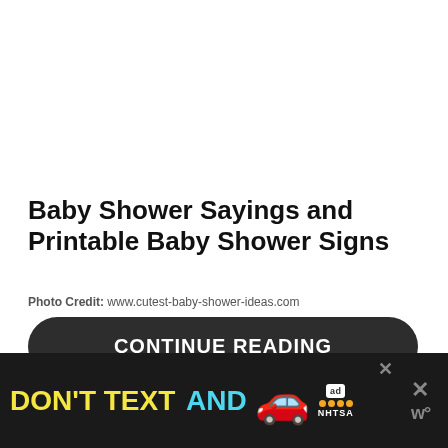Baby Shower Sayings and Printable Baby Shower Signs
Photo Credit: www.cutest-baby-shower-ideas.com
CONTINUE READING
[Figure (infographic): Advertisement banner: 'DON'T TEXT AND' text with a red car emoji, ad badge with NHTSA logo and star ratings, close buttons and W logo]